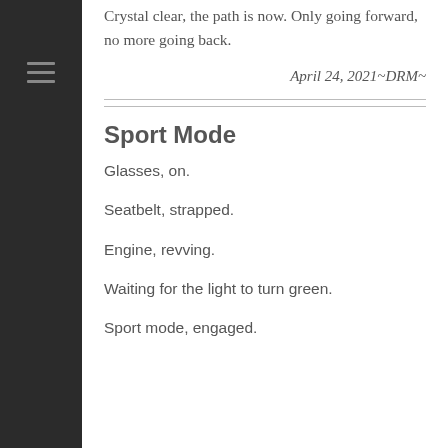Crystal clear, the path is now. Only going forward, no more going back.
April 24, 2021~DRM~
Sport Mode
Glasses, on.
Seatbelt, strapped.
Engine, revving.
Waiting for the light to turn green.
Sport mode, engaged.